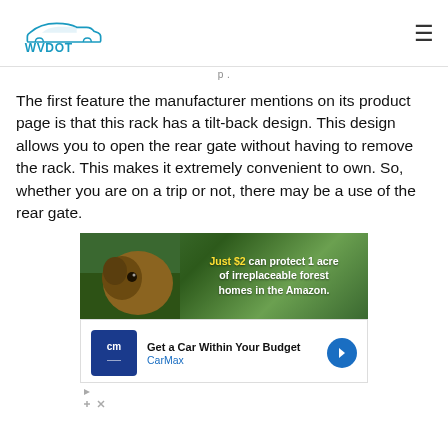WVDOT
The first feature the manufacturer mentions on its product page is that this rack has a tilt-back design. This design allows you to open the rear gate without having to remove the rack. This makes it extremely convenient to own. So, whether you are on a trip or not, there may be a use of the rear gate.
[Figure (photo): Advertisement banner showing an animal (sloth/bear) in Amazon forest with text: Just $2 can protect 1 acre of irreplaceable forest homes in the Amazon.]
[Figure (infographic): CarMax advertisement: Get a Car Within Your Budget - CarMax, with cm logo icon and blue arrow navigation button]